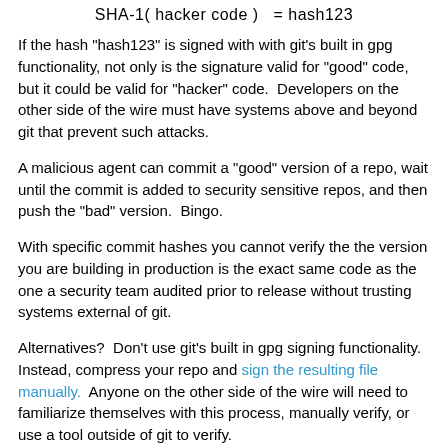If the hash "hash123" is signed with with git's built in gpg functionality, not only is the signature valid for "good" code, but it could be valid for "hacker" code.  Developers on the other side of the wire must have systems above and beyond git that prevent such attacks.
A malicious agent can commit a "good" version of a repo, wait until the commit is added to security sensitive repos, and then push the "bad" version.  Bingo.
With specific commit hashes you cannot verify the the version you are building in production is the exact same code as the one a security team audited prior to release without trusting systems external of git.
Alternatives?  Don't use git's built in gpg signing functionality.  Instead, compress your repo and sign the resulting file manually.  Anyone on the other side of the wire will need to familiarize themselves with this process, manually verify, or use a tool outside of git to verify.